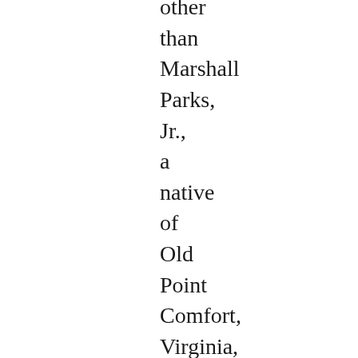other than Marshall Parks, Jr., a native of Old Point Comfort, Virginia, born on November 8, 1820. However, Parks spent nearly